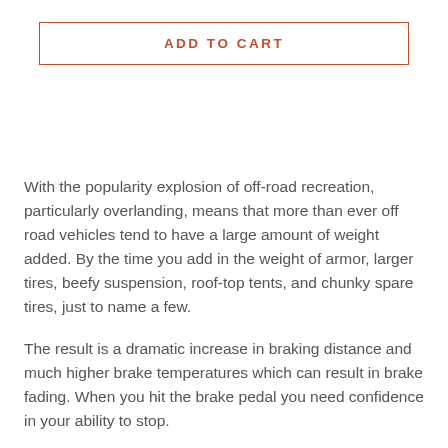ADD TO CART
With the popularity explosion of off-road recreation, particularly overlanding, means that more than ever off road vehicles tend to have a large amount of weight added. By the time you add in the weight of armor, larger tires, beefy suspension, roof-top tents, and chunky spare tires, just to name a few.
The result is a dramatic increase in braking distance and much higher brake temperatures which can result in brake fading. When you hit the brake pedal you need confidence in your ability to stop.
Enter Powerbrake, a dominant force in high performance braking…